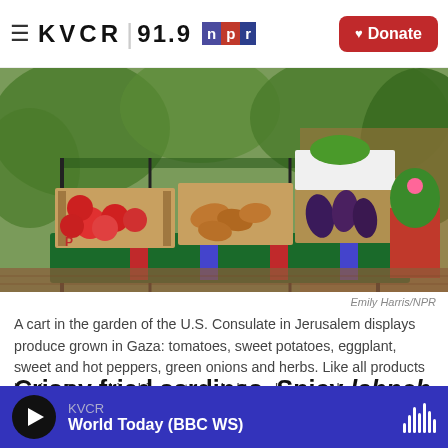≡ KVCR 91.9 npr Donate
[Figure (photo): A market cart with boxes of vegetables including tomatoes, sweet potatoes, eggplant, peppers, green onions and herbs, set in a garden with green foliage in the background.]
Emily Harris/NPR
A cart in the garden of the U.S. Consulate in Jerusalem displays produce grown in Gaza: tomatoes, sweet potatoes, eggplant, sweet and hot peppers, green onions and herbs. Like all products leaving Gaza, this shipment needed Israeli approval.
Crispy fried sardines. Spicy labneh dip for sweet
KVCR World Today (BBC WS)